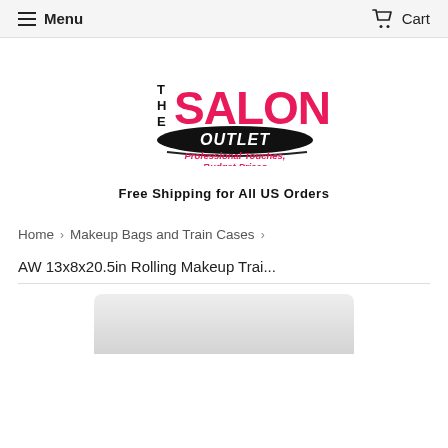Menu  Cart
[Figure (logo): The Salon Outlet logo — 'THE SALON OUTLET' in pink and black lettering with tagline 'Professional Touches, Budget Prices']
Free Shipping for All US Orders
Home › Makeup Bags and Train Cases ›
AW 13x8x20.5in Rolling Makeup Trai...
[Figure (photo): Partial view of a rolling makeup train case product image, cut off at the bottom of the page]